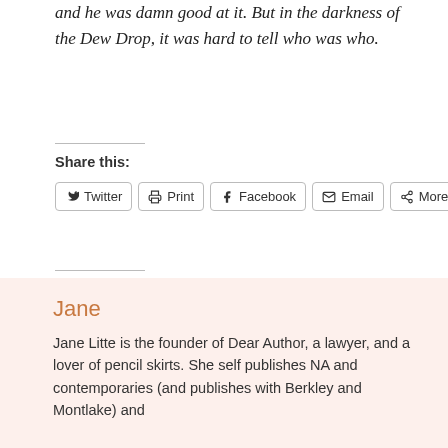and he was damn good at it. But in the darkness of the Dew Drop, it was hard to tell who was who.
Share this:
Twitter
Print
Facebook
Email
More
Like this:
Loading...
Jane
Jane Litte is the founder of Dear Author, a lawyer, and a lover of pencil skirts. She self publishes NA and contemporaries (and publishes with Berkley and Montlake) and